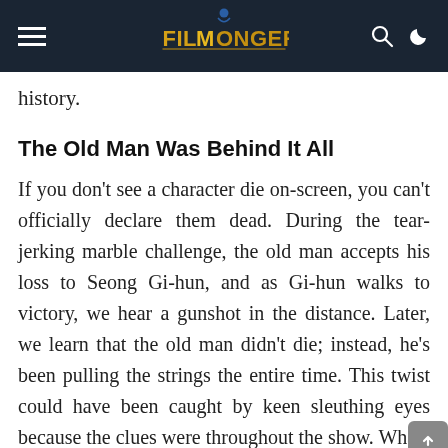FILMONGER (website header with hamburger menu, logo, search and theme icons)
history.
The Old Man Was Behind It All
If you don't see a character die on-screen, you can't officially declare them dead. During the tear-jerking marble challenge, the old man accepts his loss to Seong Gi-hun, and as Gi-hun walks to victory, we hear a gunshot in the distance. Later, we learn that the old man didn't die; instead, he's been pulling the strings the entire time. This twist could have been caught by keen sleuthing eyes because the clues were throughout the show. What